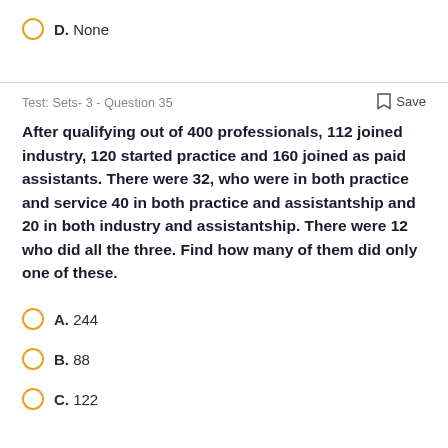D. None
Test: Sets- 3 - Question 35
After qualifying out of 400 professionals, 112 joined industry, 120 started practice and 160 joined as paid assistants. There were 32, who were in both practice and service 40 in both practice and assistantship and 20 in both industry and assistantship. There were 12 who did all the three. Find how many of them did only one of these.
A. 244
B. 88
C. 122